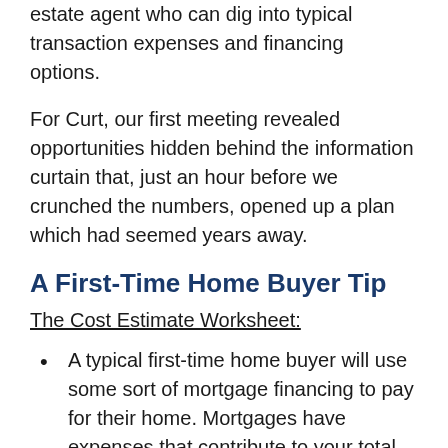crunch these numbers with an experienced real estate agent who can dig into typical transaction expenses and financing options.
For Curt, our first meeting revealed opportunities hidden behind the information curtain that, just an hour before we crunched the numbers, opened up a plan which had seemed years away.
A First-Time Home Buyer Tip
The Cost Estimate Worksheet:
A typical first-time home buyer will use some sort of mortgage financing to pay for their home. Mortgages have expenses that contribute to your total closing expenses.